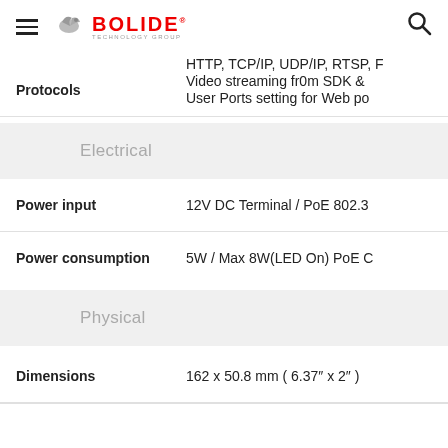BOLIDE TECHNOLOGY GROUP
Protocols: HTTP, TCP/IP, UDP/IP, RTSP, F; Video streaming fr0m SDK &; User Ports setting for Web po
Electrical
Power input: 12V DC Terminal / PoE 802.3
Power consumption: 5W / Max 8W(LED On) PoE C
Physical
Dimensions: 162 x 50.8 mm ( 6.37" x 2" )